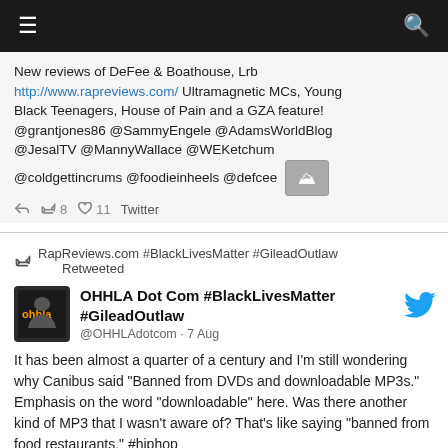Navigation bar with menu and search icons
New reviews of DeFee & Boathouse, Lrb http://www.rapreviews.com/ Ultramagnetic MCs, Young Black Teenagers, House of Pain and a GZA feature! @grantjones86 @SammyEngele @AdamsWorldBlog @JesalTV @MannyWallace @WEKetchum @coldgettincrums @foodieinheels @defcee
↩8   ♡ 11   Twitter
↩ RapReviews.com #BlackLivesMatter #GileadOutlaw Retweeted
OHHLA Dot Com #BlackLivesMatter #GileadOutlaw
@OHHLAdotcom · 7 Aug
It has been almost a quarter of a century and I'm still wondering why Canibus said "Banned from DVDs and downloadable MP3s." Emphasis on the word "downloadable" here. Was there another kind of MP3 that I wasn't aware of? That's like saying "banned from food restaurants." #hiphop